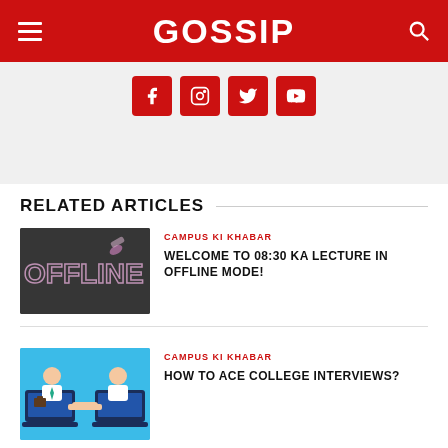GOSSIP
[Figure (screenshot): Social media sharing icons (Facebook, Instagram, Twitter, YouTube) on a gray background]
RELATED ARTICLES
[Figure (photo): Chalkboard with 'OFFLINE' written in chalk]
CAMPUS KI KHABAR
WELCOME TO 08:30 KA LECTURE IN OFFLINE MODE!
[Figure (illustration): Two cartoon businessmen shaking hands through laptop screens on a blue background]
CAMPUS KI KHABAR
HOW TO ACE COLLEGE INTERVIEWS?